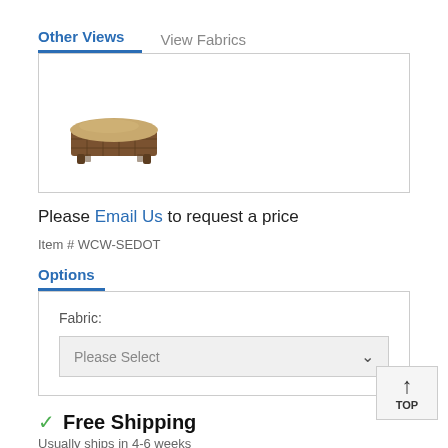Other Views | View Fabrics
[Figure (photo): Wicker ottoman with tan cushion, viewed from a slight angle]
Please Email Us to request a price
Item # WCW-SEDOT
Options
Fabric: Please Select
Free Shipping
Usually ships in 4-6 weeks